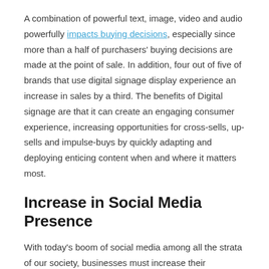A combination of powerful text, image, video and audio powerfully impacts buying decisions, especially since more than a half of purchasers' buying decisions are made at the point of sale. In addition, four out of five of brands that use digital signage display experience an increase in sales by a third. The benefits of Digital signage are that it can create an engaging consumer experience, increasing opportunities for cross-sells, up-sells and impulse-buys by quickly adapting and deploying enticing content when and where it matters most.
Increase in Social Media Presence
With today's boom of social media among all the strata of our society, businesses must increase their presence on these platforms, thus boosting their